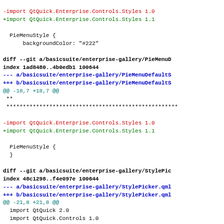-import QtQuick.Enterprise.Controls.Styles 1.0
+import QtQuick.Enterprise.Controls.Styles 1.1

  PieMenuStyle {
      backgroundColor: "#222"

diff --git a/basicsuite/enterprise-gallery/PieMenuD
index 1ad8480..4b0edb1 100644
--- a/basicsuite/enterprise-gallery/PieMenuDefaultS
+++ b/basicsuite/enterprise-gallery/PieMenuDefaultS
@@ -18,7 +18,7 @@
 **
 ****

-import QtQuick.Enterprise.Controls.Styles 1.0
+import QtQuick.Enterprise.Controls.Styles 1.1

  PieMenuStyle {
  }

diff --git a/basicsuite/enterprise-gallery/StylePic
index 48c1298..f4e097e 100644
--- a/basicsuite/enterprise-gallery/StylePicker.qml
+++ b/basicsuite/enterprise-gallery/StylePicker.qml
@@ -21,8 +21,8 @@
  import QtQuick 2.0
  import QtQuick.Controls 1.0
  import QtQuick.Controls.Styles 1.0
-import QtQuick.Enterprise.Controls 1.0
-import QtQuick.Enterprise.Controls.Styles 1.0
+import QtQuick.Enterprise.Controls 1.1